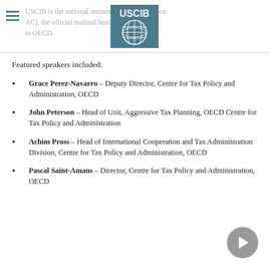USCIB is the national aff... iness at OECD (known AC), the official mult... nal business advisor the to OECD.
[Figure (logo): USCIB logo — teal square with globe graphic and USCIB text]
Featured speakers included:
Grace Perez-Navarro – Deputy Director, Centre for Tax Policy and Administration, OECD
John Peterson – Head of Unit, Aggressive Tax Planning, OECD Centre for Tax Policy and Administration
Achim Pross – Head of International Cooperation and Tax Administration Division, Centre for Tax Policy and Administration, OECD
Pascal Saint-Amans – Director, Centre for Tax Policy and Administration, OECD